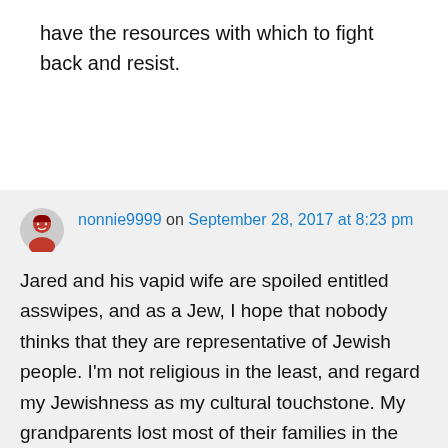have the resources with which to fight back and resist.
nonnie9999 on September 28, 2017 at 8:23 pm

Jared and his vapid wife are spoiled entitled asswipes, and as a Jew, I hope that nobody thinks that they are representative of Jewish people. I'm not religious in the least, and regard my Jewishness as my cultural touchstone. My grandparents lost most of their families in the Holocaust, as did many Jewish families did, including Kushner's. My grandparents were always grateful to live here. My father and uncles